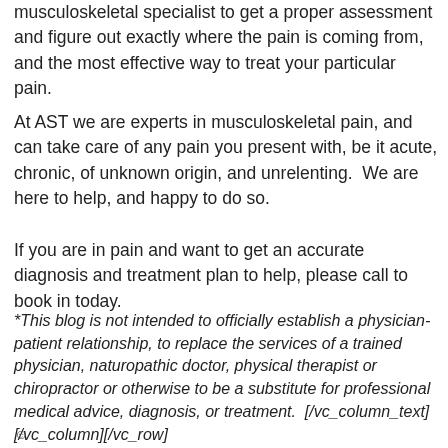musculoskeletal specialist to get a proper assessment and figure out exactly where the pain is coming from, and the most effective way to treat your particular pain.
At AST we are experts in musculoskeletal pain, and can take care of any pain you present with, be it acute, chronic, of unknown origin, and unrelenting.  We are here to help, and happy to do so.
If you are in pain and want to get an accurate diagnosis and treatment plan to help, please call to book in today.
*This blog is not intended to officially establish a physician-patient relationship, to replace the services of a trained physician, naturopathic doctor, physical therapist or chiropractor or otherwise to be a substitute for professional medical advice, diagnosis, or treatment.  [/vc_column_text][/vc_column][/vc_row]
☺